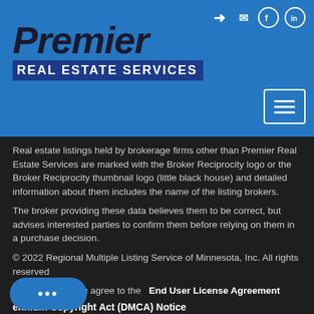[Figure (logo): Premier Real Estate Services logo with blue background, italic bold black 'Premier' text and blue banner 'REAL ESTATE SERVICES']
Real estate listings held by brokerage firms other than Premier Real Estate Services are marked with the Broker Reciprocity logo or the Broker Reciprocity thumbnail logo (little black house) and detailed information about them includes the name of the listing brokers.
The broker providing these data believes them to be correct, but advises interested parties to confirm them before relying on them in a purchase decision.
© 2022 Regional Multiple Listing Service of Minnesota, Inc. All rights reserved
By searching, you agree to the  End User License Agreement
ennium Copyright Act (DMCA) Notice
Millennium Copyright Act of 1998, 17 U.S.C. 512 (the "DMCA") provides recourse for copyright owners who believe that...